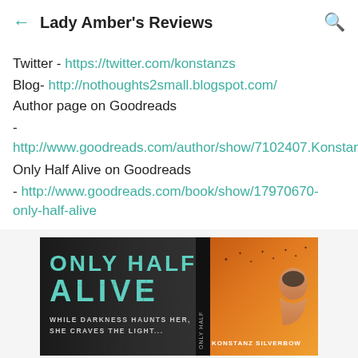Lady Amber's Reviews
Twitter - https://twitter.com/konstanzs
Blog- http://nothoughts2small.blogspot.com/
Author page on Goodreads - http://www.goodreads.com/author/show/7102407.Konstanz_Silverbow
Only Half Alive on Goodreads - http://www.goodreads.com/book/show/17970670-only-half-alive
[Figure (photo): Book cover for 'Only Half Alive' by Konstanz Silverbow. Dark background on left with large teal/white text reading 'ONLY HALF ALIVE'. Subtitle text: 'WHILE DARKNESS HAUNTS HER, SHE CRAVES THE LIGHT...' On the right side, warm orange/golden background with flying birds and a person with head bowed. Text 'KONSTANZ SILVERBOW' on right side.]